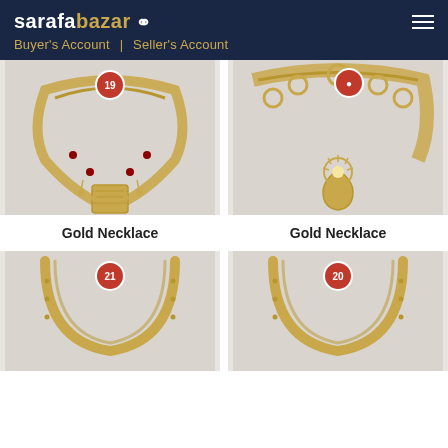sarafabazar | Buyer's Account | Seller's Account
[Figure (photo): Gold necklace with decorative pendant, badge number 19]
[Figure (photo): Gold necklace with teardrop pendant, badge number]
Gold Necklace
Gold Necklace
[Figure (photo): Gold chain/bangle item, badge number 21]
[Figure (photo): Gold chain/bangle item, badge number 20]